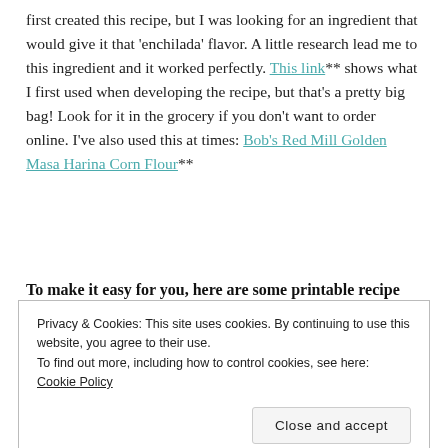first created this recipe, but I was looking for an ingredient that would give it that 'enchilada' flavor. A little research lead me to this ingredient and it worked perfectly. This link** shows what I first used when developing the recipe, but that's a pretty big bag! Look for it in the grocery if you don't want to order online. I've also used this at times: Bob's Red Mill Golden Masa Harina Corn Flour**
To make it easy for you, here are some printable recipe cards with all of the 'make a mix' tips AND… the bonus recipe for Hot Enchilada Dip.
Privacy & Cookies: This site uses cookies. By continuing to use this website, you agree to their use. To find out more, including how to control cookies, see here: Cookie Policy